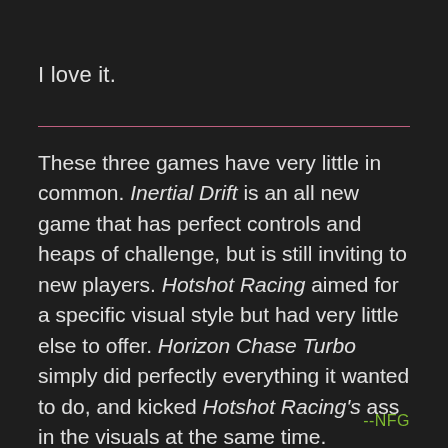I love it.
These three games have very little in common. Inertial Drift is an all new game that has perfect controls and heaps of challenge, but is still inviting to new players. Hotshot Racing aimed for a specific visual style but had very little else to offer. Horizon Chase Turbo simply did perfectly everything it wanted to do, and kicked Hotshot Racing's ass in the visuals at the same time.
--NFG